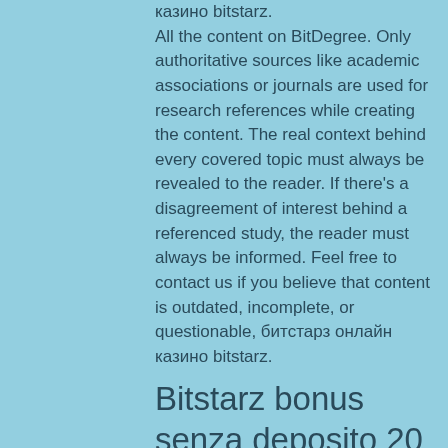казино bitstarz. All the content on BitDegree. Only authoritative sources like academic associations or journals are used for research references while creating the content. The real context behind every covered topic must always be revealed to the reader. If there's a disagreement of interest behind a referenced study, the reader must always be informed. Feel free to contact us if you believe that content is outdated, incomplete, or questionable, битстарз онлайн казино bitstarz.
Bitstarz bonus senza deposito 20 gratissnurr
Казино битстарз постоянно следит за выходом новинок слотов и размещает их у. As a crypto-friendly online casino, bitstarz offers hundreds of games that can. Bitstarz para yatırma bonusu yok 20 бесплатные